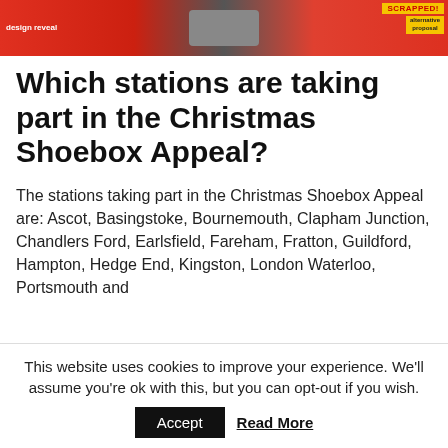[Figure (photo): Banner advertisement with red background showing a train/rail design with 'SCRAPPED!' text in yellow and additional text about design reveal and alternative proposal]
Which stations are taking part in the Christmas Shoebox Appeal?
The stations taking part in the Christmas Shoebox Appeal are: Ascot, Basingstoke, Bournemouth, Clapham Junction, Chandlers Ford, Earlsfield, Fareham, Fratton, Guildford, Hampton, Hedge End, Kingston, London Waterloo, Portsmouth and
This website uses cookies to improve your experience. We'll assume you're ok with this, but you can opt-out if you wish.